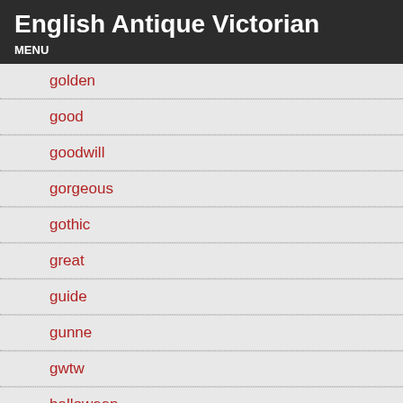English Antique Victorian
MENU
golden
good
goodwill
gorgeous
gothic
great
guide
gunne
gwtw
halloween
hand
handsome
happy
harrods